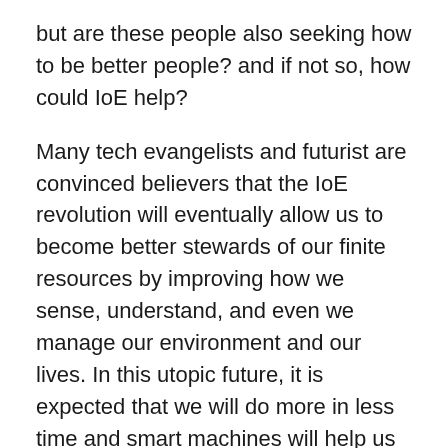but are these people also seeking how to be better people? and if not so, how could IoE help?
Many tech evangelists and futurist are convinced believers that the IoE revolution will eventually allow us to become better stewards of our finite resources by improving how we sense, understand, and even we manage our environment and our lives. In this utopic future, it is expected that we will do more in less time and smart machines will help us to be better people.
On the opposite side, if we imagine a dystrophic future world, Could not these smart machines, however, control us and cause negative effects on our lives?. (Suggest to read Isaac Asimov´s novel “Nine Tomorrows”).
But, let’s be positive and come with me to discover some